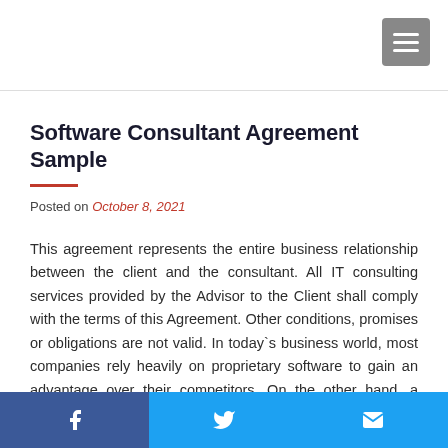Software Consultant Agreement Sample
Posted on October 8, 2021
This agreement represents the entire business relationship between the client and the consultant. All IT consulting services provided by the Advisor to the Client shall comply with the terms of this Agreement. Other conditions, promises or obligations are not valid. In today`s business world, most companies rely heavily on proprietary software to gain an advantage over their competitors. On the other hand, a software consultant
Facebook Twitter Email social share buttons